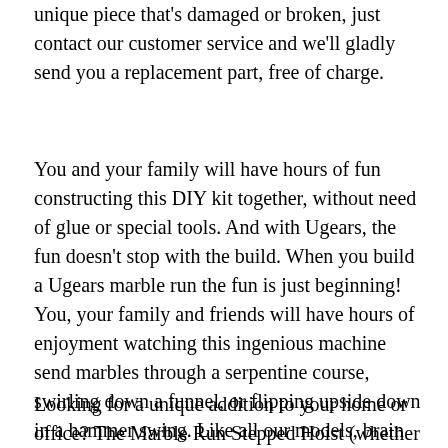unique piece that's damaged or broken, just contact our customer service and we'll gladly send you a replacement part, free of charge.
You and your family will have hours of fun constructing this DIY kit together, without need of glue or special tools. And with Ugears, the fun doesn't stop with the build. When you build a Ugears marble run the fun is just beginning! You, your family and friends will have hours of enjoyment watching this ingenious machine send marbles through a serpentine course, swirling down a funnel, or flipping upside down in a hammer swing. Like all our models, brain teasers, and 3D puzzles, the Ugears Marble Run Stepped Hoist is a beautiful standalone, or it can form part of a growing collection of marble runs or other elegant, functional wooden mechanical models.
Looking for a unique addition to your home or office? The Marble Run Stepped Hoist (whether alone or as part of a